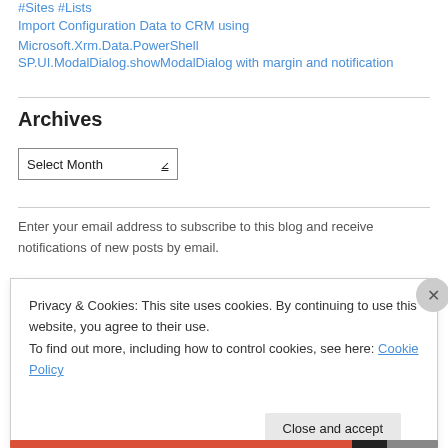#Sites #Lists
Import Configuration Data to CRM using Microsoft.Xrm.Data.PowerShell
SP.UI.ModalDialog.showModalDialog with margin and notification
Archives
Select Month
Enter your email address to subscribe to this blog and receive notifications of new posts by email.
Privacy & Cookies: This site uses cookies. By continuing to use this website, you agree to their use. To find out more, including how to control cookies, see here: Cookie Policy
Close and accept